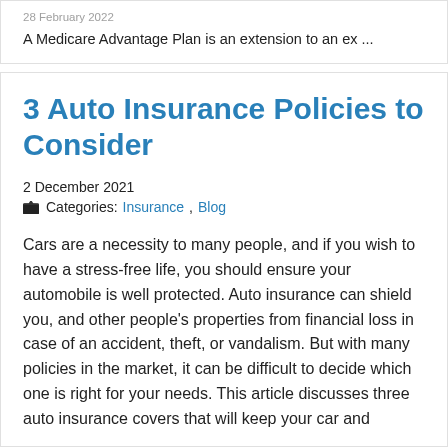28 February 2022
A Medicare Advantage Plan is an extension to an ex ...
3 Auto Insurance Policies to Consider
2 December 2021
Categories: Insurance, Blog
Cars are a necessity to many people, and if you wish to have a stress-free life, you should ensure your automobile is well protected. Auto insurance can shield you, and other people's properties from financial loss in case of an accident, theft, or vandalism. But with many policies in the market, it can be difficult to decide which one is right for your needs. This article discusses three auto insurance covers that will keep your car and